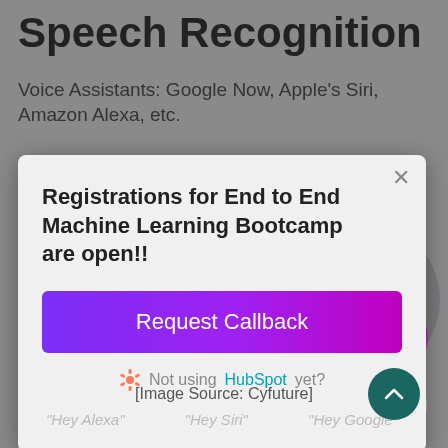Speech Recognition
Voice Assistants: Google Now, Apple's Siri, Amazon Alexa, etc.
[Figure (screenshot): Modal popup dialog on a grey background. Contains text 'Registrations for End to End Machine Learning Bootcamp are open!!' with a purple 'Request Callback' button and HubSpot branding link. Background shows decorative circles and faint voice assistant labels 'Hey Alexa', 'Hey Siri', 'Hey Google'.]
[Image Source: Cyfuture]